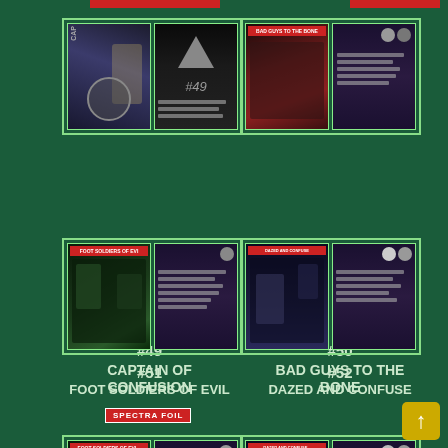[Figure (photo): Trading card #49 front and back - Captain of Confusion, Spectra Foil card]
#49
CAPTAIN OF CONFUSION
SPECTRA FOIL
[Figure (photo): Trading card #50 front and back - Bad Guys to the Bone]
#50
BAD GUYS TO THE BONE
[Figure (photo): Trading card #51 front and back - Foot Soldiers of Evil]
#51
FOOT SOLDIERS OF EVIL
[Figure (photo): Trading card #52 front and back - Dazed and Confused]
#52
DAZED AND CONFUSE